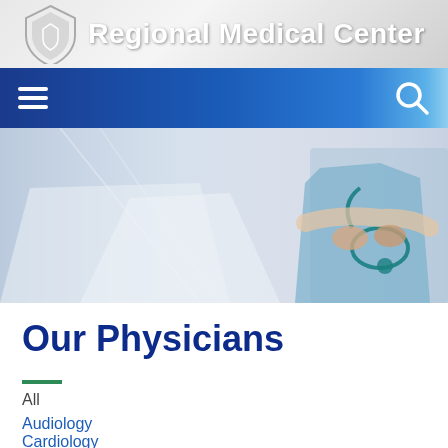Regional Medical Center
[Figure (screenshot): Navigation bar with hamburger menu icon on the left and search icon on the right, dark blue gradient background]
[Figure (photo): Hero image showing medical professionals in scrubs with a stethoscope, blurred hospital corridor in background]
Our Physicians
All
Audiology
Cardiology